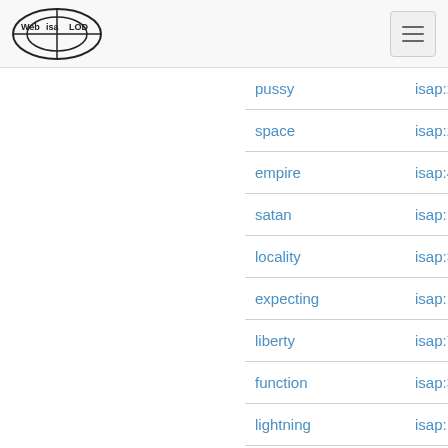Web isa LOD [logo] [hamburger menu]
| term | isap id |
| --- | --- |
| pussy | isap:2005195... |
| space | isap:2061534... |
| empire | isap:4970356... |
| satan | isap:1973723... |
| locality | isap:3798763... |
| expecting | isap:1487656... |
| liberty | isap:7031797... |
| function | isap:3803394... |
| lightning | isap:1471703... |
| ha | isap:3340809... |
| democrats | isap:1515435... |